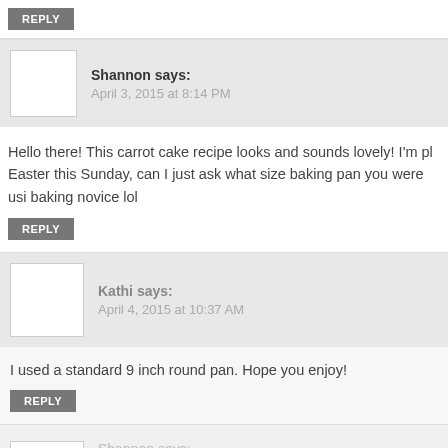REPLY
Shannon says:
April 3, 2015 at 8:14 PM
Hello there! This carrot cake recipe looks and sounds lovely! I'm pl Easter this Sunday, can I just ask what size baking pan you were usi baking novice lol
REPLY
Kathi says:
April 4, 2015 at 10:37 AM
I used a standard 9 inch round pan. Hope you enjoy!
REPLY
Shannon says: